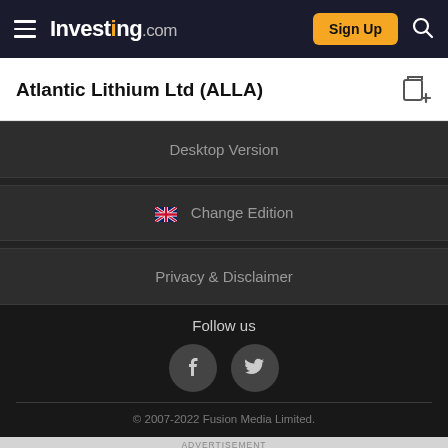Investing.com — Sign Up
Atlantic Lithium Ltd (ALLA)
Desktop Version
🇬🇧 Change Edition
Privacy & Disclaimer
Follow us
[Figure (illustration): Facebook and Twitter social media icons in dark circles]
© 2007-2022 Fusion Media Limited.
ADVERTISEMENT
[Figure (other): Advertisement banner: Try AI-Guided Investing Only $7/mo. Magnifi. Advisory services are offered through Magnifi LLC, an SEC registered investment advisor.]